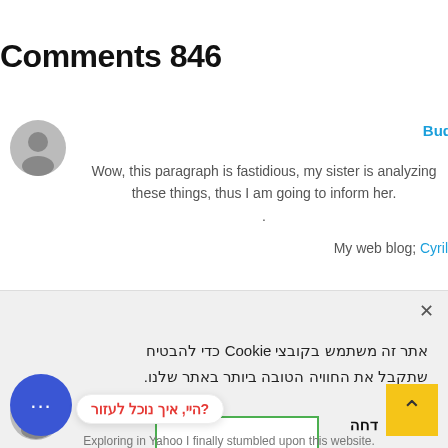Comments 846
Bud
Wow, this paragraph is fastidious, my sister is analyzing these things, thus I am going to inform her.
My web blog; Cyril
אתר זה משתמש בקובצי Cookie כדי להבטיח שתקבל את החוויה הטובה ביותר באתר שלנו.
דחה
?היי, איך נוכל לעזור
Exploring in Yahoo I finally stumbled upon this website.